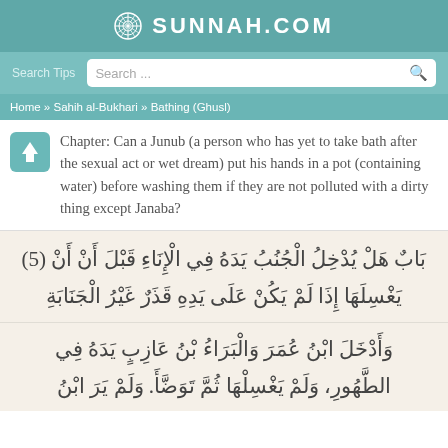SUNNAH.COM
Search Tips  Search ...
Home » Sahih al-Bukhari » Bathing (Ghusl)
Chapter: Can a Junub (a person who has yet to take bath after the sexual act or wet dream) put his hands in a pot (containing water) before washing them if they are not polluted with a dirty thing except Janaba?
(5) باب هَلْ يُدْخِلُ الْجُنُبُ يَدَهُ فِي الإِنَاءِ قَبْلَ أَنْ يَغْسِلَهَا إِذَا لَمْ يَكُنْ عَلَى يَدِهِ قَذَرٌ غَيْرُ الْجَنَابَةِ
وَأَدْخَلَ ابْنُ عُمَرَ وَالْبَرَاءُ بْنُ عَازِبٍ يَدَهُ فِي الطَّهُورِ، وَلَمْ يَغْسِلْهَا ثُمَّ تَوَضَّأَ. وَلَمْ يَرَ ابْنُ